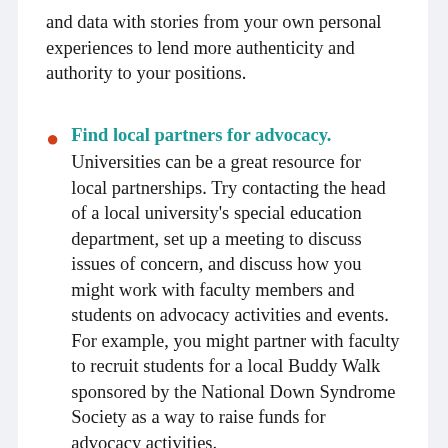and data with stories from your own personal experiences to lend more authenticity and authority to your positions.
Find local partners for advocacy. Universities can be a great resource for local partnerships. Try contacting the head of a local university's special education department, set up a meeting to discuss issues of concern, and discuss how you might work with faculty members and students on advocacy activities and events. For example, you might partner with faculty to recruit students for a local Buddy Walk sponsored by the National Down Syndrome Society as a way to raise funds for advocacy activities.
Support the advocacy skills of others. How can you support students, families, and new teachers to become more skillful advocates? Consider direct instruction for